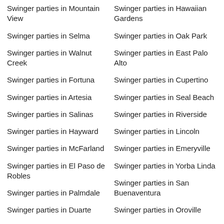Swinger parties in Mountain View
Swinger parties in Hawaiian Gardens
Swinger parties in Selma
Swinger parties in Oak Park
Swinger parties in Walnut Creek
Swinger parties in East Palo Alto
Swinger parties in Fortuna
Swinger parties in Cupertino
Swinger parties in Artesia
Swinger parties in Seal Beach
Swinger parties in Salinas
Swinger parties in Riverside
Swinger parties in Hayward
Swinger parties in Lincoln
Swinger parties in McFarland
Swinger parties in Emeryville
Swinger parties in El Paso de Robles
Swinger parties in Yorba Linda
Swinger parties in Palmdale
Swinger parties in San Buenaventura
Swinger parties in Duarte
Swinger parties in Oroville
Swinger parties in San Juan Capistrano
Swinger parties in Carlsbad